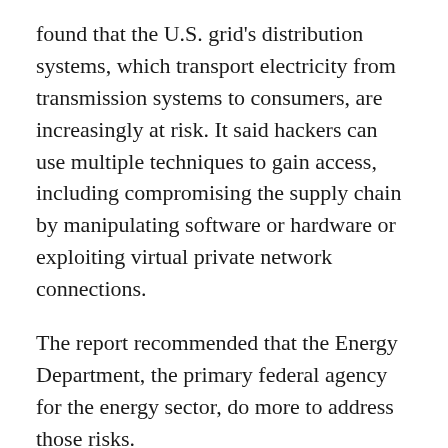found that the U.S. grid's distribution systems, which transport electricity from transmission systems to consumers, are increasingly at risk. It said hackers can use multiple techniques to gain access, including compromising the supply chain by manipulating software or hardware or exploiting virtual private network connections.
The report recommended that the Energy Department, the primary federal agency for the energy sector, do more to address those risks.
The U.S. "faces a well-documented and increasing cyber threat from malicious actors seeking to disrupt the electricity Americans rely on to power our homes and businesses," Energy Secretary Jennifer Granholm said in a statement announcing the new effort.